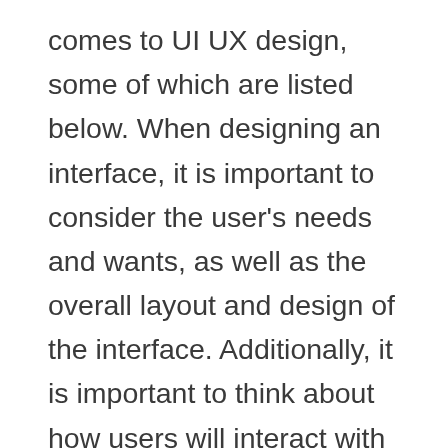comes to UI UX design, some of which are listed below. When designing an interface, it is important to consider the user's needs and wants, as well as the overall layout and design of the interface. Additionally, it is important to think about how users will interact with the interface and what kind of feedback they will receive. In addition to these general considerations, specific factors like Touch Gestures and User Feedback should also be taken into account when designing an interface. Overall, a good UI UX